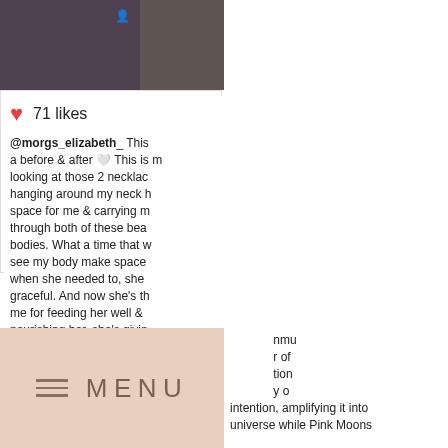[Figure (photo): Instagram post photo left - woman with ruby mala necklace]
80 likes
@becomingthebear @mamamalas WOW I seriously am blown away by this mala. From the magnificent ruby to the sandalwood beads. Sovereign indeed. The weight, the length, even the smell - all so wonderful. Thank you ♡
Pictured – Sovereign Mama Mala
[Figure (photo): Instagram post photo right - before and after body photo]
71 likes
@morgs_elizabeth_ This a before & after 🤍 This is m looking at those 2 necklac hanging around my neck h space for me & carrying m through both of these bea bodies. What a time that w see my body make space when she needed to, she graceful. And now she's th me for feeding her well & nourishing her, she's givin energy to care for my babi Mala: Amazonite gives you freedom to express your grandest, innermost desire nmu r of tion y o intention, amplifying it into universe while Pink Moons
[Figure (screenshot): Menu bar overlay with hamburger icon and MENU text on beige/pink background]